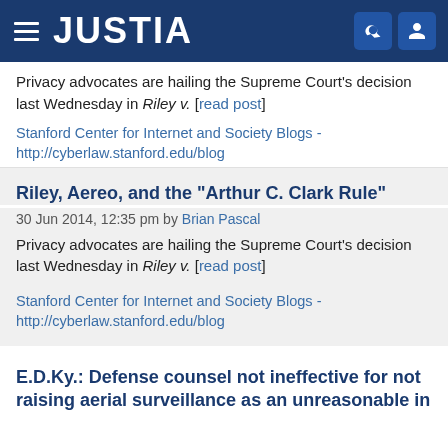JUSTIA
Privacy advocates are hailing the Supreme Court's decision last Wednesday in Riley v. [read post]
Stanford Center for Internet and Society Blogs - http://cyberlaw.stanford.edu/blog
Riley, Aereo, and the "Arthur C. Clark Rule"
30 Jun 2014, 12:35 pm by Brian Pascal
Privacy advocates are hailing the Supreme Court's decision last Wednesday in Riley v. [read post]
Stanford Center for Internet and Society Blogs - http://cyberlaw.stanford.edu/blog
E.D.Ky.: Defense counsel not ineffective for not raising aerial surveillance as an unreasonable in